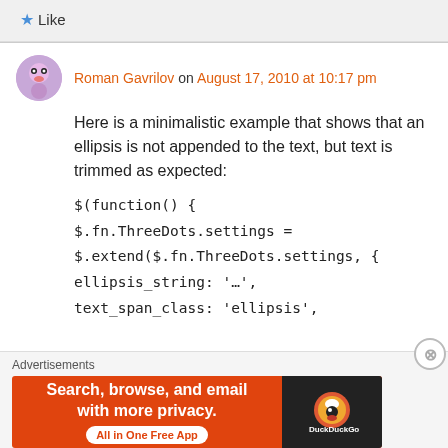★ Like
Roman Gavrilov on August 17, 2010 at 10:17 pm
Here is a minimalistic example that shows that an ellipsis is not appended to the text, but text is trimmed as expected:
$(function() {
$.fn.ThreeDots.settings =
$.extend($.fn.ThreeDots.settings, {
ellipsis_string: '…',
text_span_class: 'ellipsis',
Advertisements
[Figure (infographic): DuckDuckGo advertisement banner: 'Search, browse, and email with more privacy. All in One Free App' with DuckDuckGo duck logo on dark background]